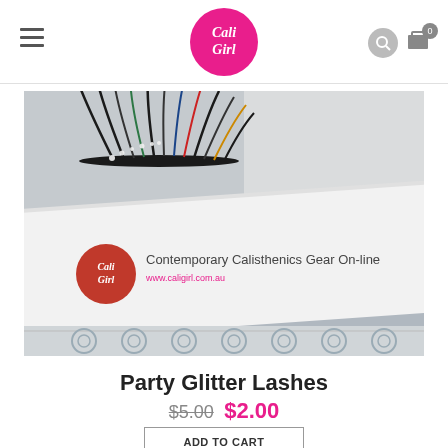Cali Girl — Contemporary Calisthenics Gear On-line
[Figure (photo): Product photo showing colorful party glitter false eyelashes displayed on a white card with the Cali Girl logo and text 'Contemporary Calisthenics Gear On-line, www.caligirl.com.au']
Party Glitter Lashes
$5.00 $2.00
ADD TO CART